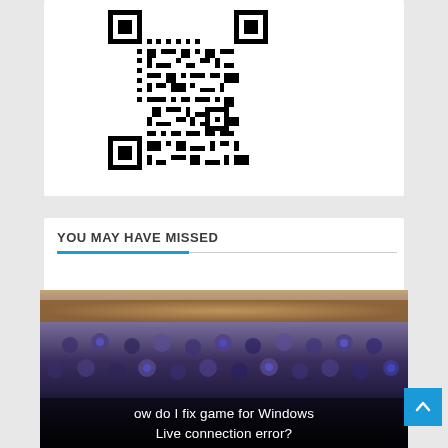[Figure (other): QR code (black and white matrix barcode) displayed in a white card area]
YOU MAY HAVE MISSED
[Figure (photo): Blurred close-up photo of a keyboard with blue/purple backlit keys and a brownish surface at the top. Overlaid text reads: 'ow do I fix game for Windows Live connection error?']